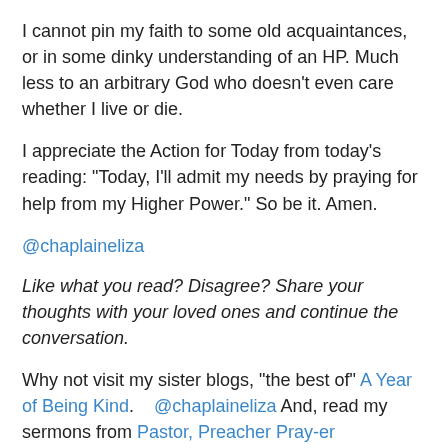I cannot pin my faith to some old acquaintances, or in some dinky understanding of an HP. Much less to an arbitrary God who doesn’t even care whether I live or die.
I appreciate the Action for Today from today’s reading: “Today, I’ll admit my needs by praying for help from my Higher Power.” So be it. Amen.
@chaplaineliza
Like what you read? Disagree? Share your thoughts with your loved ones and continue the conversation.
Why not visit my sister blogs, “the best of” A Year of Being Kind.    @chaplaineliza And, read my sermons from Pastor, Preacher Pray-er
[1] Keep It Simple: Daily Meditations for Twelve-Step